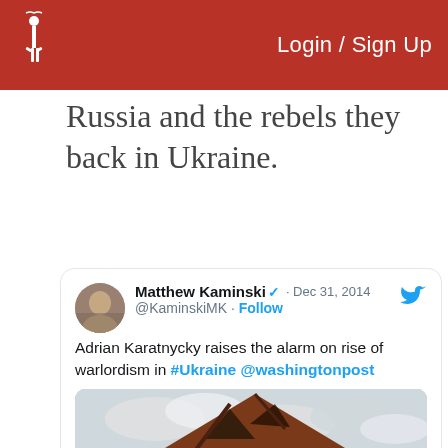Login / Sign Up
Russia and the rebels they back in Ukraine.
[Figure (screenshot): Embedded tweet from @KaminskiMK (Matthew Kaminski), Dec 31, 2014, reading: 'Adrian Karatnycky raises the alarm on rise of warlordism in #Ukraine @washingtonpost', with an attached photo of a war-damaged house with a burnt roof against a cloudy sky.]